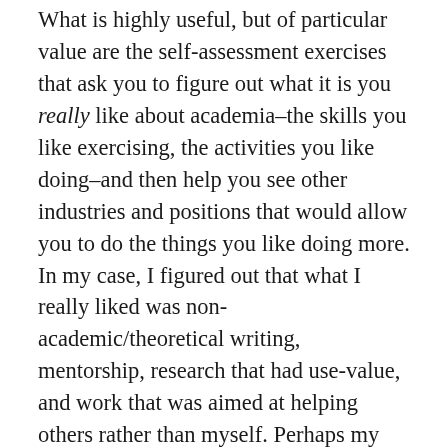What is highly useful, but of particular value are the self-assessment exercises that ask you to figure out what it is you really like about academia–the skills you like exercising, the activities you like doing–and then help you see other industries and positions that would allow you to do the things you like doing more. In my case, I figured out that what I really liked was non-academic/theoretical writing, mentorship, research that had use-value, and work that was aimed at helping others rather than myself. Perhaps my favourite thing about So What is the way it helps PhDs realize that there are a number of careers that might suit their strengths and interests better than being a professor, and the way it helps them identify what those careers are. For me, it helped me see that I might like to be a grant writer, or a counsellor, or what I am